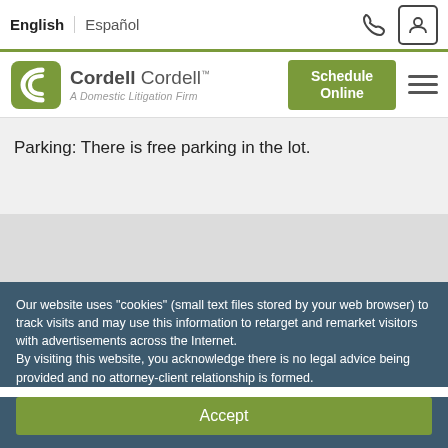English | Español
[Figure (logo): Cordell Cordell – A Domestic Litigation Firm logo with green C bracket icon, Schedule Online green button, and hamburger menu]
Parking: There is free parking in the lot.
Our website uses "cookies" (small text files stored by your web browser) to track visits and may use this information to retarget and remarket visitors with advertisements across the Internet.
By visiting this website, you acknowledge there is no legal advice being provided and no attorney-client relationship is formed.
Accept